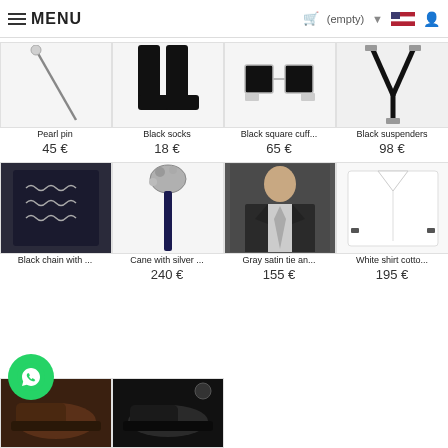MENU | (empty) cart | flag | user icon
[Figure (photo): Pearl pin product image on white background]
Pearl pin
45 €
[Figure (photo): Black socks product image]
Black socks
18 €
[Figure (photo): Black square cufflinks product image]
Black square cuff...
65 €
[Figure (photo): Black suspenders product image]
Black suspenders
98 €
[Figure (photo): Black chain necklace product image in box]
Black chain with ...
[Figure (photo): Cane with silver ornate handle product image]
Cane with silver ...
240 €
[Figure (photo): Gray satin tie and suit product image]
Gray satin tie an...
155 €
[Figure (photo): White shirt cotton product image]
White shirt cotto...
195 €
[Figure (photo): Dark leather shoes partial image]
[Figure (photo): Black loafer shoes partial image]